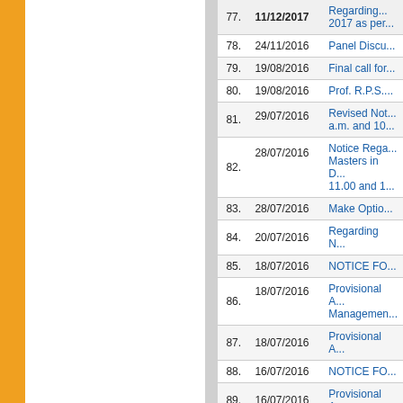| No. | Date | Notice/Link |
| --- | --- | --- |
| 77. | 11/12/2017 | Regarding... 2017 as per... |
| 78. | 24/11/2016 | Panel Discu... |
| 79. | 19/08/2016 | Final call for... |
| 80. | 19/08/2016 | Prof. R.P.S.... |
| 81. | 29/07/2016 | Revised Not... a.m. and 10... |
| 82. | 28/07/2016 | Notice Rega... Masters in D... 11.00 and 1... |
| 83. | 28/07/2016 | Make Optio... |
| 84. | 20/07/2016 | Regarding N... |
| 85. | 18/07/2016 | NOTICE FO... |
| 86. | 18/07/2016 | Provisional A... Managemen... |
| 87. | 18/07/2016 | Provisional A... |
| 88. | 16/07/2016 | NOTICE FO... |
| 89. | 16/07/2016 | Provisional A... |
| 90. | 14/07/2016 | Tentative Me... Categories)... |